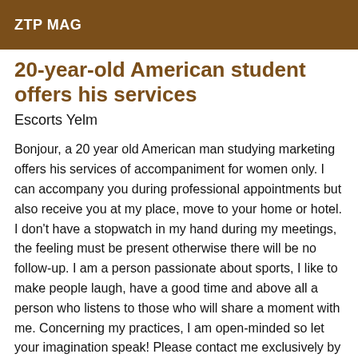ZTP MAG
20-year-old American student offers his services
Escorts Yelm
Bonjour, a 20 year old American man studying marketing offers his services of accompaniment for women only. I can accompany you during professional appointments but also receive you at my place, move to your home or hotel. I don't have a stopwatch in my hand during my meetings, the feeling must be present otherwise there will be no follow-up. I am a person passionate about sports, I like to make people laugh, have a good time and above all a person who listens to those who will share a moment with me. Concerning my practices, I am open-minded so let your imagination speak! Please contact me exclusively by sms if you want more information! I'm sure we will have a great time under the comforter or not! Haha Wishing you a good day/evening